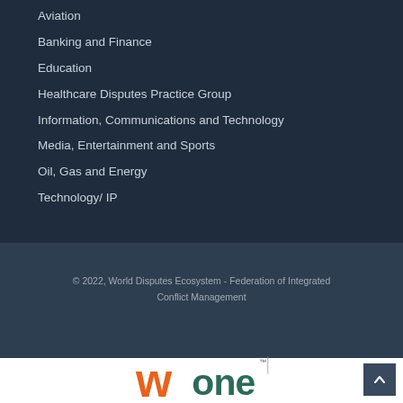Aviation
Banking and Finance
Education
Healthcare Disputes Practice Group
Information, Communications and Technology
Media, Entertainment and Sports
Oil, Gas and Energy
Technology/ IP
© 2022, World Disputes Ecosystem - Federation of Integrated Conflict Management
[Figure (logo): WOne logo with orange W and teal 'one' text with trademark symbol]